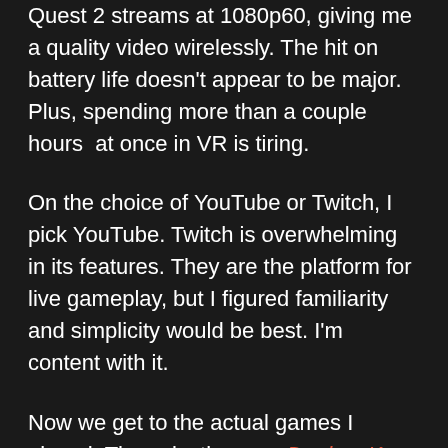Quest 2 streams at 1080p60, giving me a quality video wirelessly. The hit on battery life doesn't appear to be major. Plus, spending more than a couple hours  at once in VR is tiring.
On the choice of YouTube or Twitch, I pick YouTube. Twitch is overwhelming in its features. They are the platform for live gameplay, but I figured familiarity and simplicity would be best. I'm content with it.
Now we get to the actual games I played. The selection was Donkey Kong Country: Tropical Freeze, The Great Ace Attorney Chronicles, and Pistol Whip; a platformer, a visual novel, and a rhythm, on-rails shooting game.